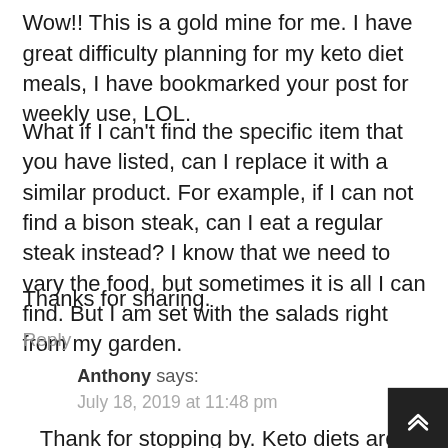Wow!! This is a gold mine for me. I have great difficulty planning for my keto diet meals, I have bookmarked your post for weekly use, LOL.
What if I can't find the specific item that you have listed, can I replace it with a similar product. For example, if I can not find a bison steak, can I eat a regular steak instead? I know that we need to vary the food, but sometimes it is all I can find. But I am set with the salads right from my garden.
Thanks for sharing.
Reply
Anthony says:
July 18, 2019 at 11:48 pm
Thank for stopping by. Keto diets are very flexible. You just need to follow the fat, protein,